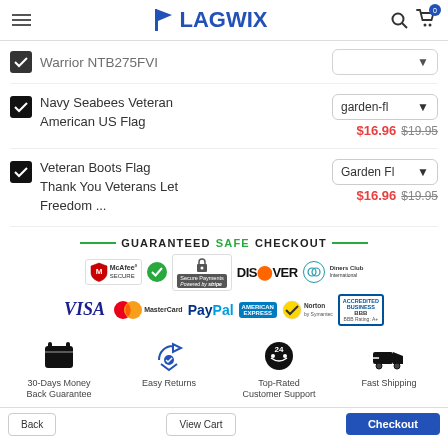FLAGWIX
Warrior NTB275FVI
Navy Seabees Veteran American US Flag — garden-fl — $16.96  $19.95
Veteran Boots Flag Thank You Veterans Let Freedom ... — Garden Fl — $16.96  $19.95
GUARANTEED SAFE CHECKOUT
[Figure (infographic): Payment trust badges: McAfee Secure, green checkmark, padlock Secure Payments by Stripe, Discover, Diners Club International, VISA, MasterCard, PayPal, American Express, Norton by Symantec, BBB Accredited Business BBB Rating: A+]
[Figure (infographic): Trust icons: 30-Days Money Back Guarantee (wallet icon), Easy Returns (hand with shield icon), Top-Rated Customer Support (phone 24h icon), Fast Shipping (truck icon)]
Bottom navigation bar with checkout button